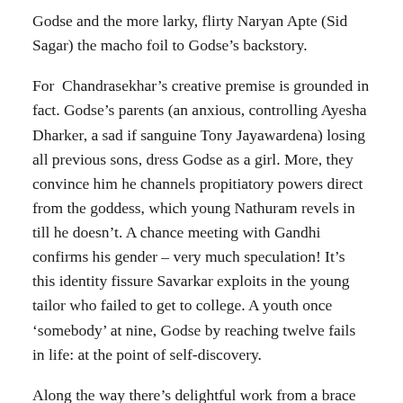Godse and the more larky, flirty Naryan Apte (Sid Sagar) the macho foil to Godse’s backstory.
For Chandrasekhar’s creative premise is grounded in fact. Godse’s parents (an anxious, controlling Ayesha Dharker, a sad if sanguine Tony Jayawardena) losing all previous sons, dress Godse as a girl. More, they convince him he channels propitiatory powers direct from the goddess, which young Nathuram revels in till he doesn’t. A chance meeting with Gandhi confirms his gender – very much speculation! It’s this identity fissure Savarkar exploits in the young tailor who failed to get to college. A youth once ‘somebody’ at nine, Godse by reaching twelve fails in life: at the point of self-discovery.
Along the way there’s delightful work from a brace of childhood friends: Madhav’s Ankar Bahl and particularly Dinita Gohil’s Vimala in their farthest-spitting competition; and Vimala’s blossoming into a